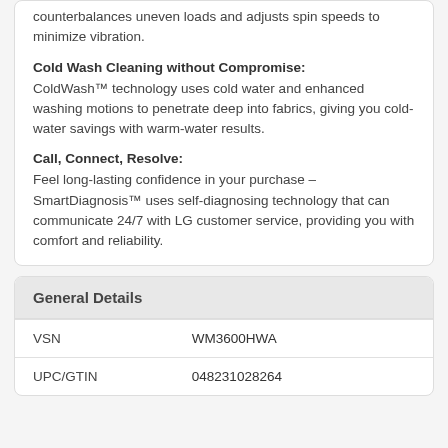counterbalances uneven loads and adjusts spin speeds to minimize vibration.
Cold Wash Cleaning without Compromise:
ColdWash™ technology uses cold water and enhanced washing motions to penetrate deep into fabrics, giving you cold-water savings with warm-water results.
Call, Connect, Resolve:
Feel long-lasting confidence in your purchase – SmartDiagnosis™ uses self-diagnosing technology that can communicate 24/7 with LG customer service, providing you with comfort and reliability.
General Details
|  |  |
| --- | --- |
| VSN | WM3600HWA |
| UPC/GTIN | 048231028264 |